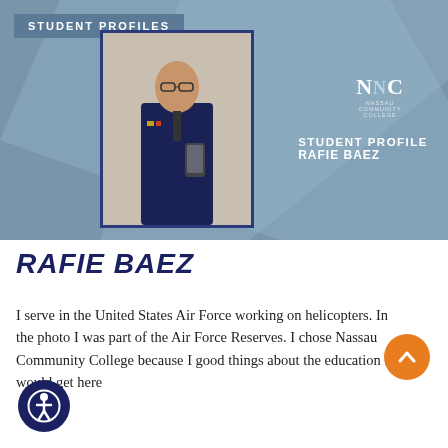STUDENT PROFILES
[Figure (photo): Screenshot/thumbnail of NCC Student Profile video for Rafie Baez, showing a young man in Air Force uniform taking a mirror selfie, with NCC logo and text 'STUDENT PROFILE RAFIE BAEZ' overlaid on a blue-grey background]
RAFIE BAEZ
I serve in the United States Air Force working on helicopters. In the photo I was part of the Air Force Reserves. I chose Nassau Community College because I good things about the education I would get here and...